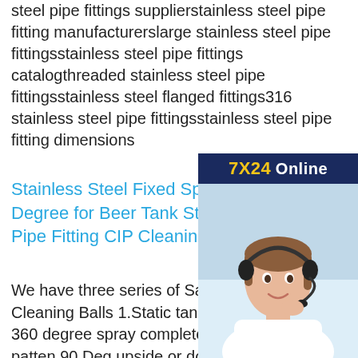steel pipe fittings supplierstainless steel pipe fitting manufacturerslarge stainless steel pipe fittingsstainless steel pipe fittings catalogthreaded stainless steel pipe fittingsstainless steel flanged fittings316 stainless steel pipe fittingsstainless steel pipe fitting dimensions
[Figure (other): Chat support advertisement: Dark blue box with '7X24 Online' header (7X24 in yellow, Online in white), photo of a young woman wearing a headset smiling, dark blue footer with italic bold text 'Hello,may I help you?' and a yellow button 'Get Latest Price']
Stainless Steel Fixed Spray Ball Degree for Beer Tank Stainless Steel Pipe Fitting CIP Cleaning Spray
We have three series of Sanitary Stainless Steel Cleaning Balls 1.Static tank CIP cleaning ball 360 degree spray completely, 180 degree patten,90 Deg upside or downside,the head can be round or flat 2. Rotary Spray head the ball